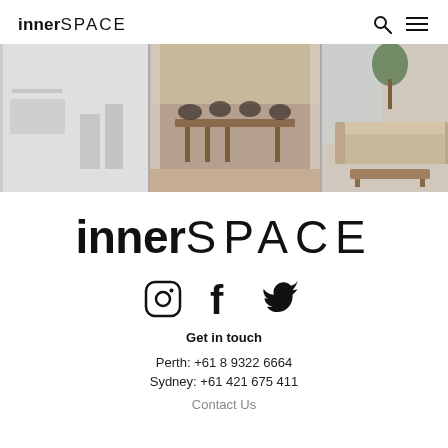inner SPACE
[Figure (photo): Three-panel interior design photo strip showing modern minimalist rooms: left panel with white geometric forms, center panel with wooden dining table and bentwood chairs, right panel with neutral-toned sofa and coffee table with plant]
inner SPACE
[Figure (infographic): Three social media icons: Instagram (circle with camera outline), Facebook (f), Twitter (bird)]
Get in touch
Perth: +61 8 9322 6664
Sydney: +61 421 675 411
Contact Us